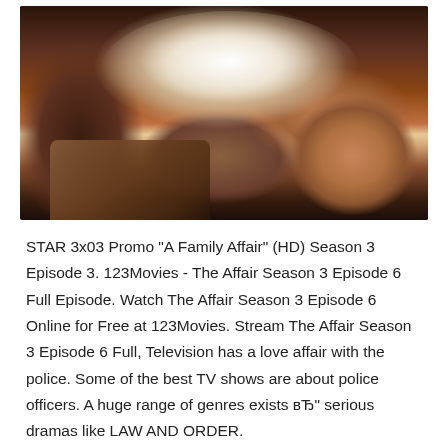[Figure (photo): Close-up photo of a person in a white long-sleeve shirt seated in a wooden chair, showing their torso, arm resting on chair, and hand. Dark, moody background.]
STAR 3x03 Promo "A Family Affair" (HD) Season 3 Episode 3. 123Movies - The Affair Season 3 Episode 6 Full Episode. Watch The Affair Season 3 Episode 6 Online for Free at 123Movies. Stream The Affair Season 3 Episode 6 Full, Television has a love affair with the police. Some of the best TV shows are about police officers. A huge range of genres exists вЂ" serious dramas like LAW AND ORDER.